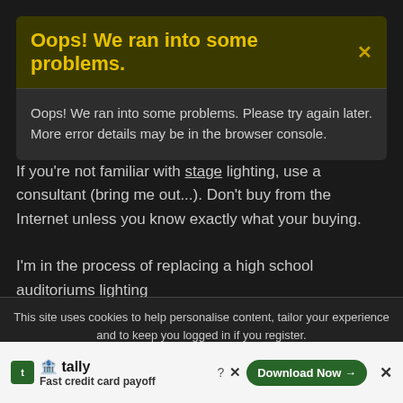Oops! We ran into some problems.
Oops! We ran into some problems. Please try again later. More error details may be in the browser console.
If you're not familiar with stage lighting, use a consultant (bring me out...). Don't buy from the Internet unless you know exactly what your buying.
I'm in the process of replacing a high school auditoriums lighting
This site uses cookies to help personalise content, tailor your experience and to keep you logged in if you register.
By continuing to use this site, you are consenting to our use of cookies.
✓ Accept
Learn more...
They have 3 electrical batons & back wall wash. 6 Fresnels on the 3 batons & scoops for back wall wash. I added RGBAW+Uv LED wash pars, 10/baton & 6 three meter strips on the back wall. Ea... (I forg... the nam... ...ence
🏦 tally
Fast credit card payoff
Download Now →